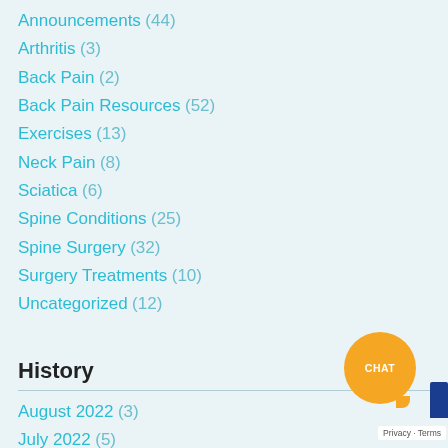Announcements (44)
Arthritis (3)
Back Pain (2)
Back Pain Resources (52)
Exercises (13)
Neck Pain (8)
Sciatica (6)
Spine Conditions (25)
Spine Surgery (32)
Surgery Treatments (10)
Uncategorized (12)
History
August 2022 (3)
July 2022 (5)